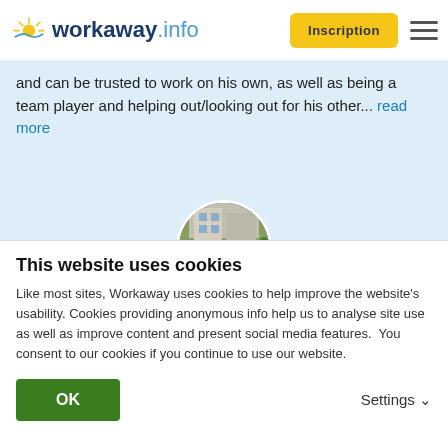workaway.info — Inscription
and can be trusted to work on his own, as well as being a team player and helping out/looking out for his other... read more
[Figure (photo): Circular profile photo showing an outdoor cafe/market scene with people sitting at tables]
[Figure (other): Five yellow stars rating]
(Excellent )
28.05.2018
Laissé par le workawayer (Chauncey & Jessica) pour l'hôte
This website uses cookies
Like most sites, Workaway uses cookies to help improve the website's usability. Cookies providing anonymous info help us to analyse site use as well as improve content and present social media features.  You consent to our cookies if you continue to use our website.
OK
Settings